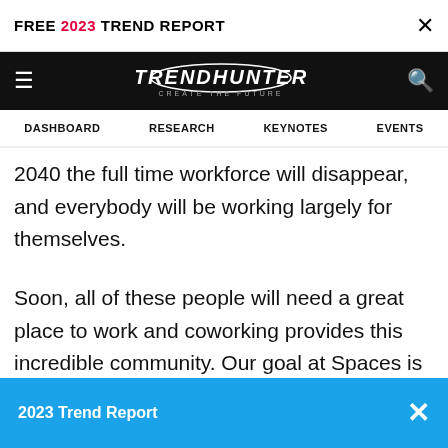FREE 2023 TREND REPORT ×
[Figure (logo): Trendhunter logo with hamburger menu and search icon on black navigation bar]
DASHBOARD RESEARCH KEYNOTES EVENTS
2040 the full time workforce will disappear, and everybody will be working largely for themselves.
Soon, all of these people will need a great place to work and coworking provides this incredible community. Our goal at Spaces is to build an ecosystem for people, where they can work within 7 or 8 different environments. We wanted to build an environment that would also...
2023 Trend Report ×